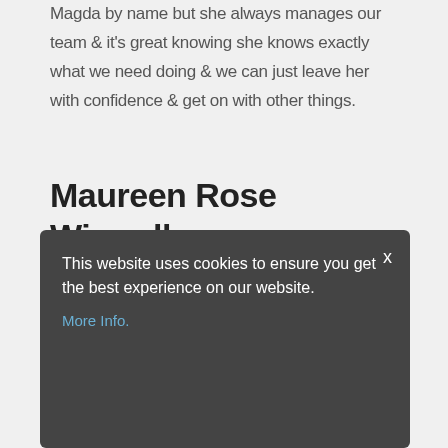Magda by name but she always manages our team & it's great knowing she knows exactly what we need doing & we can just leave her with confidence & get on with other things.
Maureen Rose Wiswell
Helping Hands have provided a weekly cleaning and laundry over the last eighteen months. Their attention to detail is exemplary and the staff are friendly and accommodating.
This website uses cookies to ensure you get the best experience on our website. More Info.